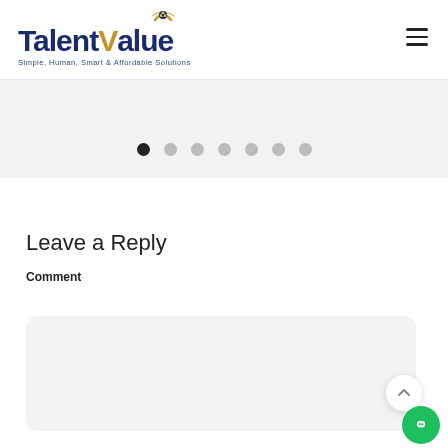[Figure (logo): TalentValue logo with gold checkmark/wings icon above the letter V, dark navy blue text reading TalentValue, tagline: Simple, Human, Smart & Affordable Solutions]
[Figure (other): Carousel/slider navigation dots: 7 dots, the first (leftmost) is dark/active, the remaining 6 are light grey]
Leave a Reply
Comment
[Figure (other): Comment text input area - a large rounded light grey text area for user input]